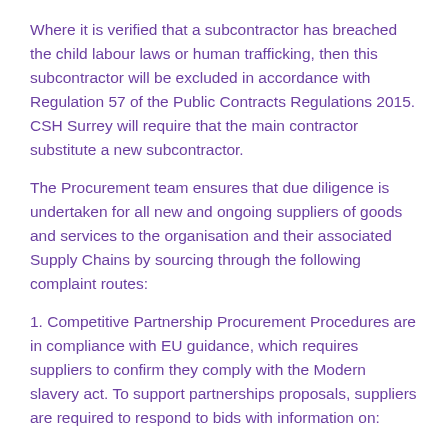Where it is verified that a subcontractor has breached the child labour laws or human trafficking, then this subcontractor will be excluded in accordance with Regulation 57 of the Public Contracts Regulations 2015. CSH Surrey will require that the main contractor substitute a new subcontractor.
The Procurement team ensures that due diligence is undertaken for all new and ongoing suppliers of goods and services to the organisation and their associated Supply Chains by sourcing through the following complaint routes:
1. Competitive Partnership Procurement Procedures are in compliance with EU guidance, which requires suppliers to confirm they comply with the Modern slavery act. To support partnerships proposals, suppliers are required to respond to bids with information on:
(a) the organisation's structure, its business and its supply chains;